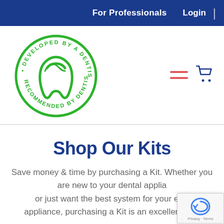For Professionals   Login
[Figure (logo): Circular green badge logo with text 'DEVELOPED BY A DENTIST • RECOMMENDED BY DENTISTS •' surrounding a green tooth icon in the center]
Shop Our Kits
Save money & time by purchasing a Kit. Whether you are new to your dental appliance or just want the best system for your existing appliance, purchasing a Kit is an excellent way